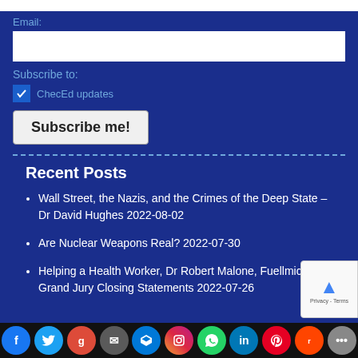Email:
Subscribe to:
ChecEd updates
Subscribe me!
Recent Posts
Wall Street, the Nazis, and the Crimes of the Deep State – Dr David Hughes 2022-08-02
Are Nuclear Weapons Real? 2022-07-30
Helping a Health Worker, Dr Robert Malone, Fuellmich Grand Jury Closing Statements 2022-07-26